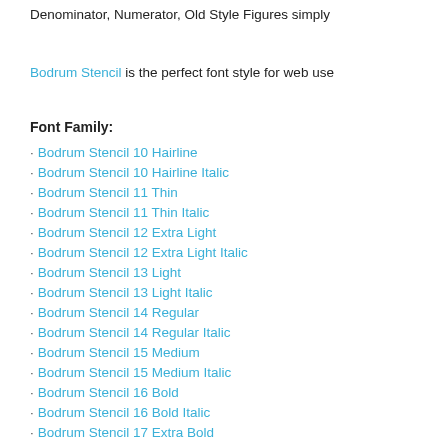Denominator, Numerator, Old Style Figures simply
Bodrum Stencil is the perfect font style for web use
Font Family:
Bodrum Stencil 10 Hairline
Bodrum Stencil 10 Hairline Italic
Bodrum Stencil 11 Thin
Bodrum Stencil 11 Thin Italic
Bodrum Stencil 12 Extra Light
Bodrum Stencil 12 Extra Light Italic
Bodrum Stencil 13 Light
Bodrum Stencil 13 Light Italic
Bodrum Stencil 14 Regular
Bodrum Stencil 14 Regular Italic
Bodrum Stencil 15 Medium
Bodrum Stencil 15 Medium Italic
Bodrum Stencil 16 Bold
Bodrum Stencil 16 Bold Italic
Bodrum Stencil 17 Extra Bold
Bodrum Stencil 17 Extra Bold Italic
Bodrum Stencil 18 Heavy
Bodrum Stencil 18 Heavy Italic